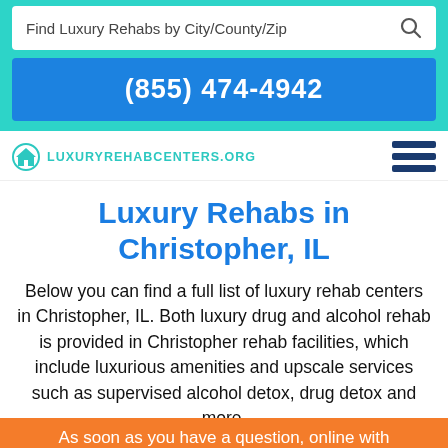[Figure (screenshot): Search bar with placeholder text 'Find Luxury Rehabs by City/County/Zip' and a search icon on teal background]
(855) 474-4942
[Figure (logo): LuxuryRehabCenters.org logo with teal house icon and teal uppercase text]
[Figure (other): Dark blue hamburger menu icon with three horizontal bars]
Luxury Rehabs in Christopher, IL
Below you can find a full list of luxury rehab centers in Christopher, IL. Both luxury drug and alcohol rehab is provided in Christopher rehab facilities, which include luxurious amenities and upscale services such as supervised alcohol detox, drug detox and more.
As soon as you have a question, online with